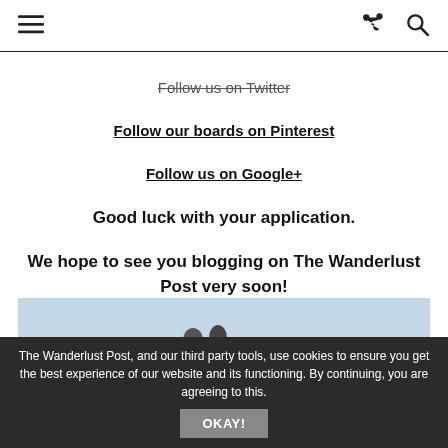[Navigation bar with menu, share, and search icons]
Follow us on Twitter
Follow our boards on Pinterest
Follow us on Google+
Good luck with your application.
We hope to see you blogging on The Wanderlust Post very soon!
[Figure (photo): Partial photo at the bottom of the page, appears to show people outdoors against a sky background]
The Wanderlust Post, and our third party tools, use cookies to ensure you get the best experience of our website and its functioning. By continuing, you are agreeing to this. OKAY!